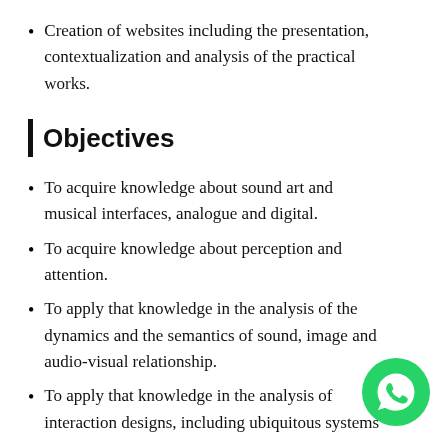Creation of websites including the presentation, contextualization and analysis of the practical works.
| Objectives
To acquire knowledge about sound art and musical interfaces, analogue and digital.
To acquire knowledge about perception and attention.
To apply that knowledge in the analysis of the dynamics and the semantics of sound, image and audio-visual relationship.
To apply that knowledge in the analysis of interaction designs, including ubiquitous systems